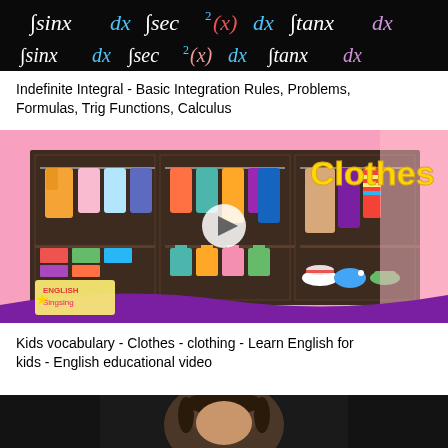[Figure (screenshot): Blackboard thumbnail showing calculus integration formulas: integral sinx dx, integral sec(x)^2 dx, integral tanx dx written in colored chalk]
Indefinite Integral - Basic Integration Rules, Problems, Formulas, Trig Functions, Calculus
[Figure (screenshot): Colorful kids educational video thumbnail showing animated wardrobe with clothes, a cartoon girl, play button overlay, English Singsing logo, and the word 'Clothes' in yellow text]
Kids vocabulary - Clothes - clothing - Learn English for kids - English educational video
[Figure (screenshot): Partial thumbnail of a third video, showing a person's face on dark background]